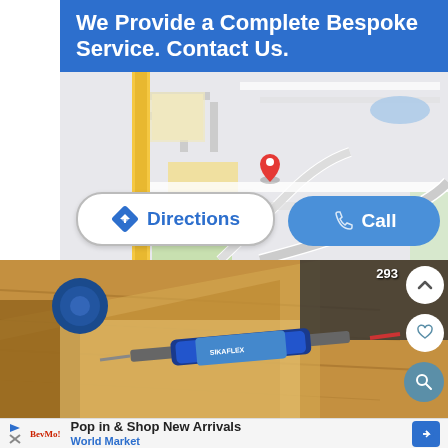We Provide a Complete Bespoke Service. Contact Us.
[Figure (map): Google Maps screenshot showing street map with red location pin marker in center, yellow road visible on left side, green areas on lower left, and blue water feature upper right]
Directions
Call
[Figure (photo): Photograph of wooden workbench/box with blue tape, a caulk gun or syringe tool with blue adhesive cartridge, viewed from above. Number 293 visible in upper right corner. Navigation buttons (up arrow, heart, search) on right side.]
Pop in & Shop New Arrivals
World Market